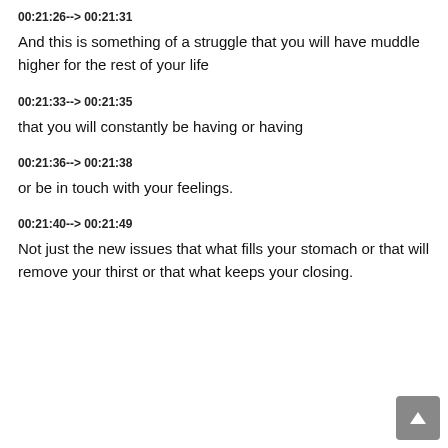00:21:26--> 00:21:31
And this is something of a struggle that you will have muddle higher for the rest of your life
00:21:33--> 00:21:35
that you will constantly be having or having
00:21:36--> 00:21:38
or be in touch with your feelings.
00:21:40--> 00:21:49
Not just the new issues that what fills your stomach or that will remove your thirst or that what keeps your closing.